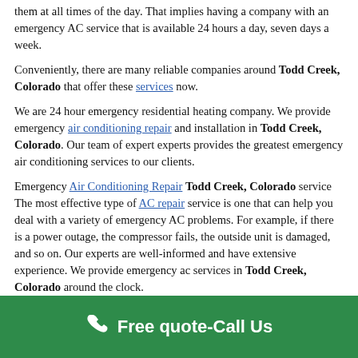them at all times of the day. That implies having a company with an emergency AC service that is available 24 hours a day, seven days a week.
Conveniently, there are many reliable companies around Todd Creek, Colorado that offer these services now.
We are 24 hour emergency residential heating company. We provide emergency air conditioning repair and installation in Todd Creek, Colorado. Our team of expert experts provides the greatest emergency air conditioning services to our clients.
Emergency Air Conditioning Repair Todd Creek, Colorado service The most effective type of AC repair service is one that can help you deal with a variety of emergency AC problems. For example, if there is a power outage, the compressor fails, the outside unit is damaged, and so on. Our experts are well-informed and have extensive experience. We provide emergency ac services in Todd Creek, Colorado around the clock.
There are several reasons why someone should consider hiring a
[Figure (other): Green call-to-action bar with phone icon and text 'Free quote-Call Us']